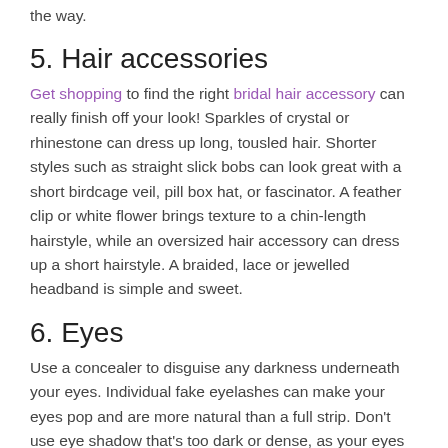the way.
5. Hair accessories
Get shopping to find the right bridal hair accessory can really finish off your look! Sparkles of crystal or rhinestone can dress up long, tousled hair. Shorter styles such as straight slick bobs can look great with a short birdcage veil, pill box hat, or fascinator. A feather clip or white flower brings texture to a chin-length hairstyle, while an oversized hair accessory can dress up a short hairstyle. A braided, lace or jewelled headband is simple and sweet.
6. Eyes
Use a concealer to disguise any darkness underneath your eyes. Individual fake eyelashes can make your eyes pop and are more natural than a full strip. Don't use eye shadow that's too dark or dense, as your eyes will get lost. Apply eye shadow from the outside in,